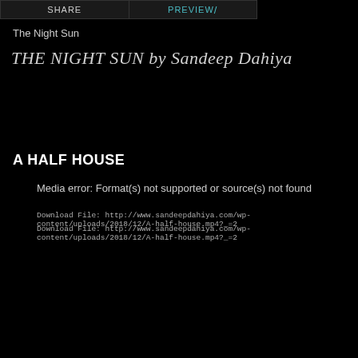SHARE | PREVIEW /
The Night Sun
THE NIGHT SUN by Sandeep Dahiya
A HALF HOUSE
Media error: Format(s) not supported or source(s) not found
Download File: http://www.sandeepdahiya.com/wp-content/uploads/2018/12/A-half-house.mp4?_=2
Download File: http://www.sandeepdahiya.com/wp-content/uploads/2018/12/A-half-house.mp4?_=2